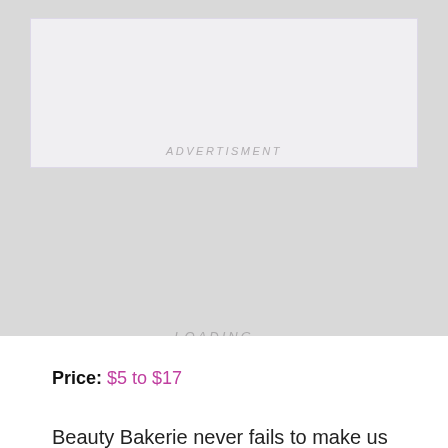[Figure (other): Advertisement placeholder box with light gray/lavender background showing 'LOADING...' text in center and 'ADVERTISMENT' text at bottom]
Price: $5 to $17
Beauty Bakerie never fails to make us hungry and their